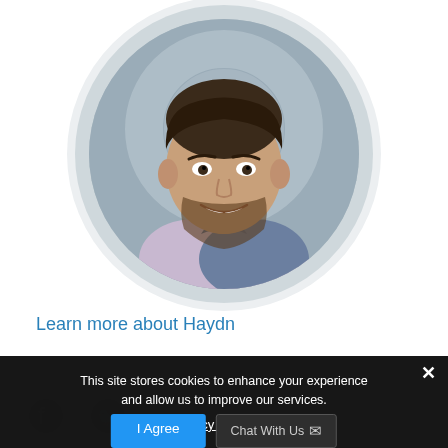[Figure (photo): Circular headshot of a smiling young man with short dark hair and beard, wearing a light shirt, set against a blurred city background. The photo is cropped in a circle with a light grey ring border.]
Learn more about Haydn
Share
[Figure (infographic): Cookie consent banner overlay on dark background. Text reads: 'This site stores cookies to enhance your experience and allow us to improve our services.' with a Privacy Preferences link, an 'I Agree' button, and a 'Chat With Us' button. An X close button is in the top right.]
Contact us for more information